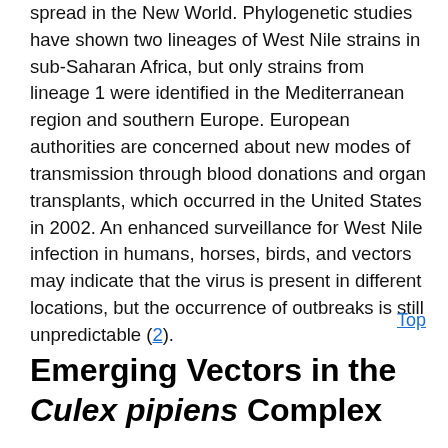spread in the New World. Phylogenetic studies have shown two lineages of West Nile strains in sub-Saharan Africa, but only strains from lineage 1 were identified in the Mediterranean region and southern Europe. European authorities are concerned about new modes of transmission through blood donations and organ transplants, which occurred in the United States in 2002. An enhanced surveillance for West Nile infection in humans, horses, birds, and vectors may indicate that the virus is present in different locations, but the occurrence of outbreaks is still unpredictable (2).
Top
Emerging Vectors in the Culex pipiens Complex